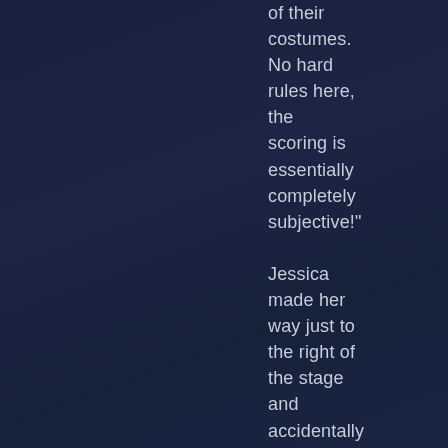of their costumes. No hard rules here, the scoring is essentially completely subjective!"

Jessica made her way just to the right of the stage and accidentally bumped elbows with another